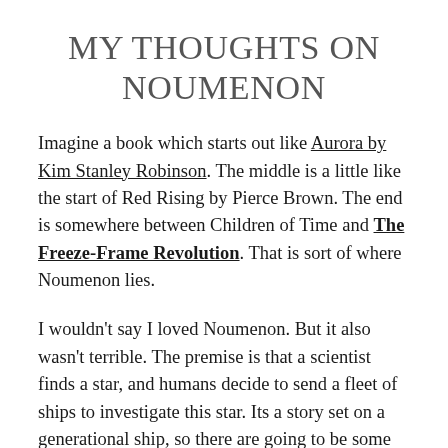MY THOUGHTS ON NOUMENON
Imagine a book which starts out like Aurora by Kim Stanley Robinson. The middle is a little like the start of Red Rising by Pierce Brown. The end is somewhere between Children of Time and The Freeze-Frame Revolution. That is sort of where Noumenon lies.
I wouldn't say I loved Noumenon. But it also wasn't terrible. The premise is that a scientist finds a star, and humans decide to send a fleet of ships to investigate this star. Its a story set on a generational ship, so there are going to be some